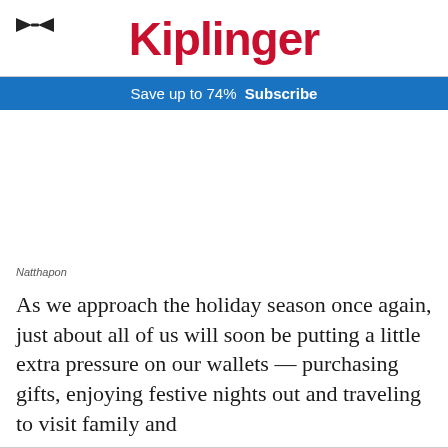Kiplinger
Save up to 74%   Subscribe
[Figure (photo): Blank white area placeholder for an image (image not visible in the source)]
Natthapon
As we approach the holiday season once again, just about all of us will soon be putting a little extra pressure on our wallets — purchasing gifts, enjoying festive nights out and traveling to visit family and